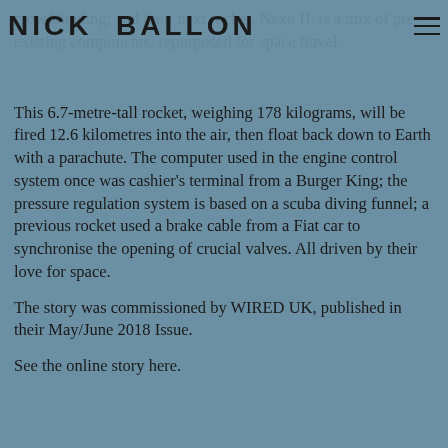crowdfunding; and their next rocket, Nexø II, is a mix of pre-existing components, repurposed for space travel.
NICK BALLON
This 6.7-metre-tall rocket, weighing 178 kilograms, will be fired 12.6 kilometres into the air, then float back down to Earth with a parachute. The computer used in the engine control system once was cashier's terminal from a Burger King; the pressure regulation system is based on a scuba diving funnel; a previous rocket used a brake cable from a Fiat car to synchronise the opening of crucial valves. All driven by their love for space.
The story was commissioned by WIRED UK, published in their May/June 2018 Issue.
See the online story here.